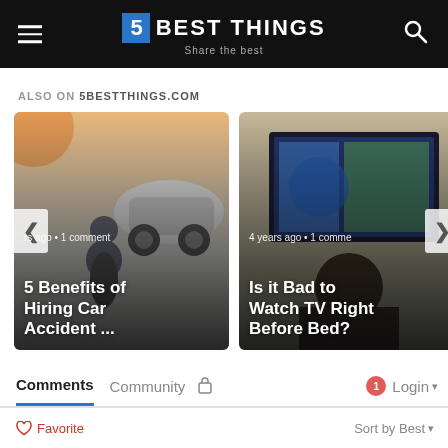5 BEST THINGS – Share the best
ALSO ON 5BESTTHINGS.COM
[Figure (photo): Article card: person kneeling beside a car after accident. Title: 5 Benefits of Hiring Car Accident ... Meta: rs ago • 1 comment]
[Figure (photo): Article card: person watching TV. Title: Is it Bad to Watch TV Right Before Bed? Meta: 4 years ago • 1 comment]
Comments   Community   🔒   1   Login ▾
♡ Favorite   Sort by Best ▾